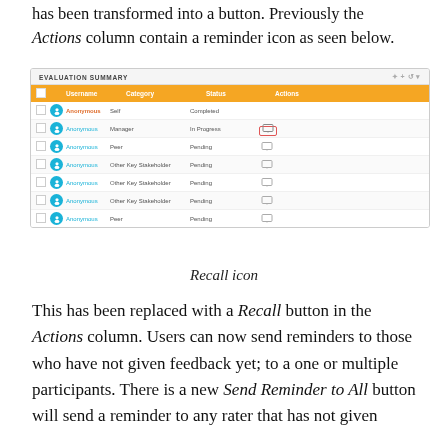has been transformed into a button. Previously the Actions column contain a reminder icon as seen below.
[Figure (screenshot): Screenshot of Evaluation Summary table showing Anonymous users with categories Self, Manager, Peer, Other Key Stakeholder and statuses Completed, In Progress, Pending. The Actions column shows a recall/monitor icon, highlighted with a red box.]
Recall icon
This has been replaced with a Recall button in the Actions column. Users can now send reminders to those who have not given feedback yet; to a one or multiple participants. There is a new Send Reminder to All button will send a reminder to any rater that has not given